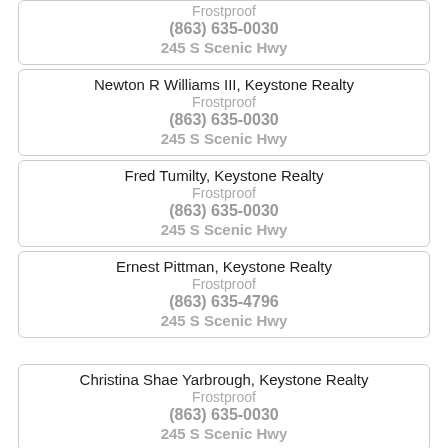Frostproof
(863) 635-0030
245 S Scenic Hwy
Newton R Williams III, Keystone Realty
Frostproof
(863) 635-0030
245 S Scenic Hwy
Fred Tumilty, Keystone Realty
Frostproof
(863) 635-0030
245 S Scenic Hwy
Ernest Pittman, Keystone Realty
Frostproof
(863) 635-4796
245 S Scenic Hwy
Christina Shae Yarbrough, Keystone Realty
Frostproof
(863) 635-0030
245 S Scenic Hwy
Ramon M Ramos, Frostproof Realty
Frostproof
(863) 635-4246